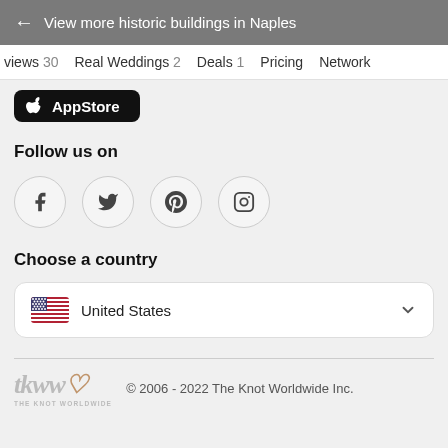← View more historic buildings in Naples
views 30   Real Weddings 2   Deals 1   Pricing   Network
[Figure (screenshot): App Store download button (black rounded rectangle with Apple logo and 'AppStore' text)]
Follow us on
[Figure (infographic): Four social media icons in circular outlines: Facebook (f), Twitter (bird), Pinterest (P), Instagram (camera)]
Choose a country
United States
© 2006 - 2022 The Knot Worldwide Inc.